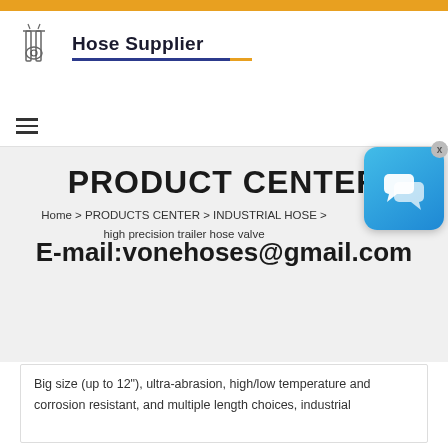Hose Supplier
[Figure (logo): Hose Supplier company logo with industrial hose equipment icon and text 'Hose Supplier' with blue underline]
PRODUCT CENTER
Home > PRODUCTS CENTER > INDUSTRIAL HOSE > high precision trailer hose valve
E-mail:vonehoses@gmail.com
Big size (up to 12"), ultra-abrasion, high/low temperature and corrosion resistant, and multiple length choices, industrial